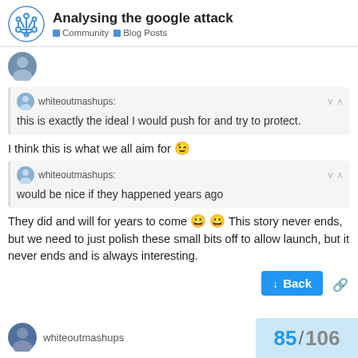Analysing the google attack — Community | Blog Posts
this is exactly the ideal I would push for and try to protect.
I think this is what we all aim for 😉
would be nice if they happened years ago
They did and will for years to come 😀😀 This story never ends, but we need to just polish these small bits off to allow launch, but it never ends and is always interesting.
whiteoutmashups